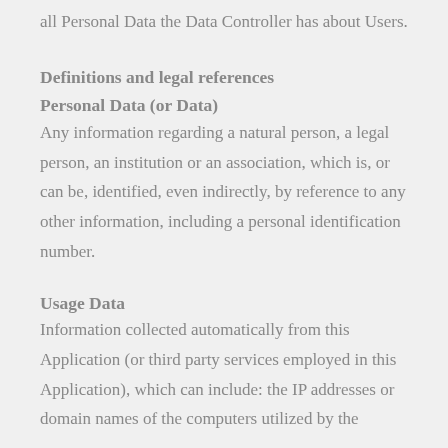all Personal Data the Data Controller has about Users.
Definitions and legal references
Personal Data (or Data)
Any information regarding a natural person, a legal person, an institution or an association, which is, or can be, identified, even indirectly, by reference to any other information, including a personal identification number.
Usage Data
Information collected automatically from this Application (or third party services employed in this Application), which can include: the IP addresses or domain names of the computers utilized by the